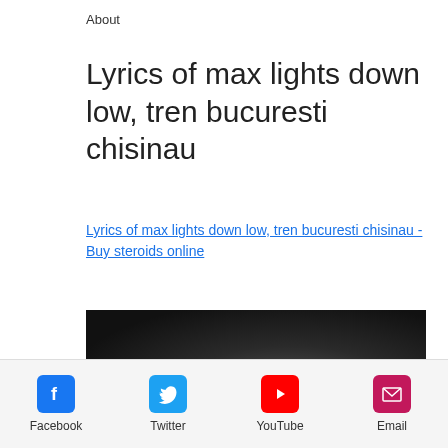About
Lyrics of max lights down low, tren bucuresti chisinau
Lyrics of max lights down low, tren bucuresti chisinau - Buy steroids online
[Figure (photo): Dark blurred image, appears to be a music video or concert scene]
Facebook  Twitter  YouTube  Email